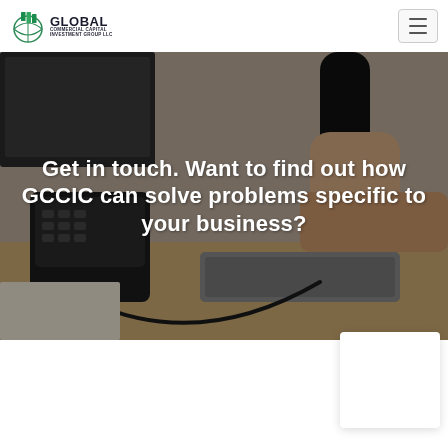[Figure (logo): Global Commercial Capital Investment Group LLC logo with green building icon and text]
[Figure (other): Hamburger menu button (three horizontal lines) in top right corner]
[Figure (photo): Hero background photo of a person's hand holding a telephone receiver over a desk with a business phone and keyboard, slightly blurred/dark]
Get in touch. Want to find out how GCCIC can solve problems specific to your business?